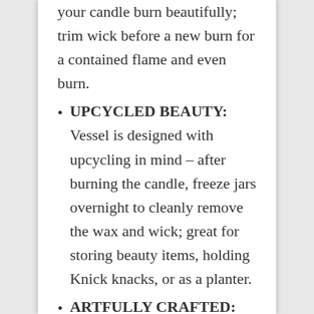your candle burn beautifully; trim wick before a new burn for a contained flame and even burn.
UPCYCLED BEAUTY: Vessel is designed with upcycling in mind – after burning the candle, freeze jars overnight to cleanly remove the wax and wick; great for storing beauty items, holding Knick knacks, or as a planter.
ARTFULLY CRAFTED: